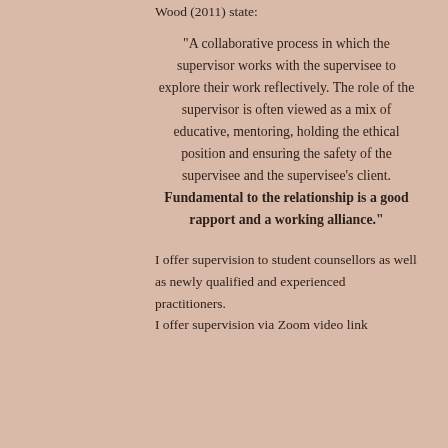Wood (2011) state:
"A collaborative process in which the supervisor works with the supervisee to explore their work reflectively. The role of the supervisor is often viewed as a mix of educative, mentoring, holding the ethical position and ensuring the safety of the supervisee and the supervisee's client. Fundamental to the relationship is a good rapport and a working alliance."
I offer supervision to student counsellors as well as newly qualified and experienced practitioners. I offer supervision via Zoom video link